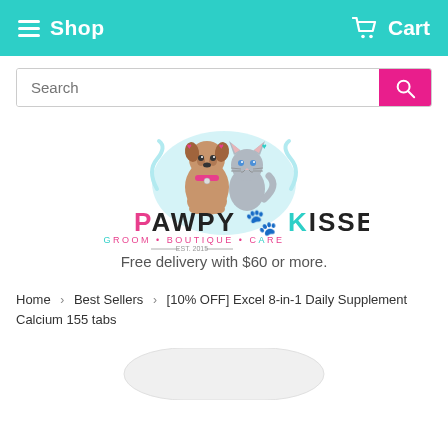Shop   Cart
[Figure (other): Search bar with pink search button]
[Figure (logo): Pawpy Kisses logo with cartoon dog and cat, text: PAWPY KISSES GROOM • BOUTIQUE • CARE EST. 2015]
Free delivery with $60 or more.
Home › Best Sellers › [10% OFF] Excel 8-in-1 Daily Supplement Calcium 155 tabs
[Figure (photo): Product image - white container partially visible at bottom of page]